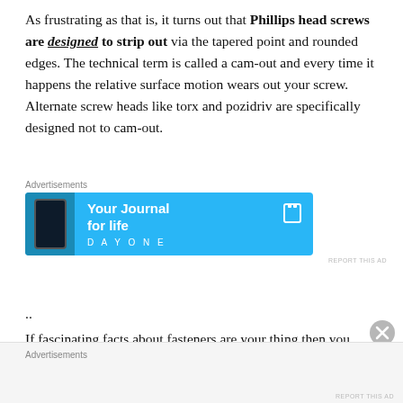As frustrating as that is, it turns out that Phillips head screws are designed to strip out via the tapered point and rounded edges. The technical term is called a cam-out and every time it happens the relative surface motion wears out your screw.  Alternate screw heads like torx and pozidriv are specifically designed not to cam-out.
[Figure (other): Advertisement banner for Day One app: 'Your Journal for life' with phone mockup on cyan/blue background]
..
If fascinating facts about fasteners are your thing then you should check out  Carroll Smith's "Nuts, Bolts, Fasteners, and
[Figure (other): Bottom advertisements section placeholder]